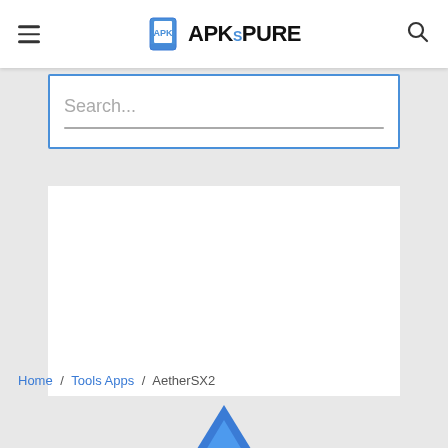APKsPURE
[Figure (screenshot): Search input box with placeholder text 'Search...' and a horizontal underline, enclosed in a blue border panel]
Search...
Home / Tools Apps / AetherSX2
[Figure (logo): Partial blue geometric logo/icon visible at the bottom of the page]